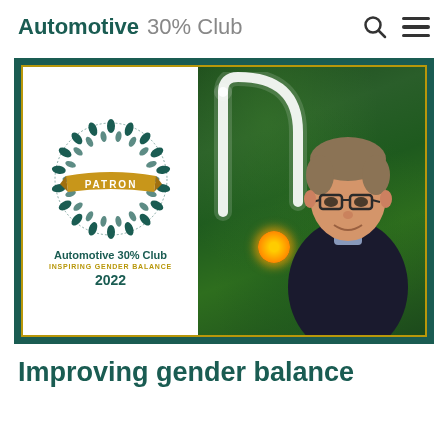Automotive 30% Club
[Figure (photo): Automotive 30% Club Patron badge for 2022 on the left, with a man in glasses and dark sweater standing in front of a green plant wall with a neon 'n' sign on the right]
Improving gender balance